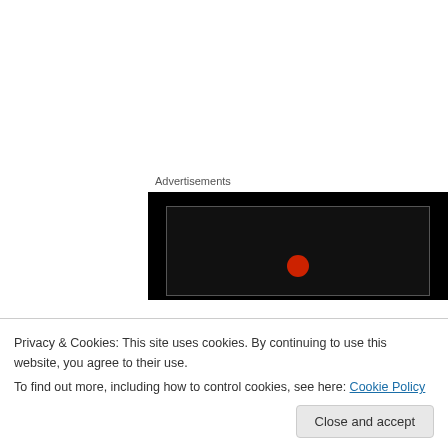Advertisements
[Figure (screenshot): Black advertisement block with a dark inner rectangle and a small red circular icon visible at the bottom center.]
Michael Eden on January 21, 2015 at 12:40 pm
Sam,
I won't call YOU “clever” because you are merely a hypocrite. You attack me for some alleged
You are so boundingly ignorant it is an affront to
Privacy & Cookies: This site uses cookies. By continuing to use this website, you agree to their use.
To find out more, including how to control cookies, see here: Cookie Policy